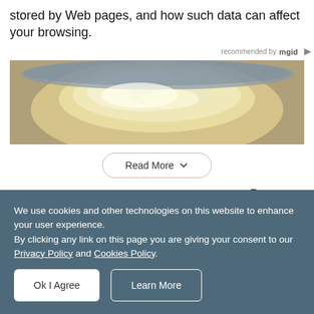stored by Web pages, and how such data can affect your browsing.
recommended by mgid
[Figure (photo): Advertisement image showing a creamy dish or food in a bowl/pan, yellowish-white tones.]
Read More
Rosemary
We use cookies and other technologies on this website to enhance your user experience.
By clicking any link on this page you are giving your consent to our Privacy Policy and Cookies Policy.
Ok I Agree
Learn More